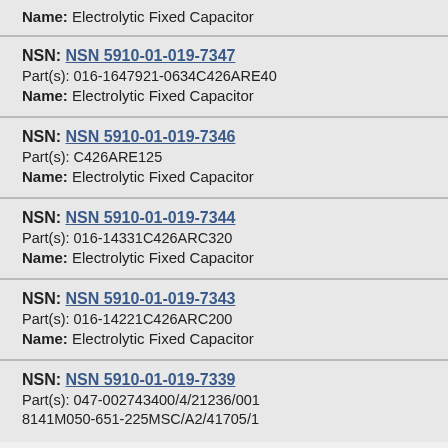Name: Electrolytic Fixed Capacitor
NSN: NSN 5910-01-019-7347
Part(s): 016-1647921-0634C426ARE40
Name: Electrolytic Fixed Capacitor
NSN: NSN 5910-01-019-7346
Part(s): C426ARE125
Name: Electrolytic Fixed Capacitor
NSN: NSN 5910-01-019-7344
Part(s): 016-14331C426ARC320
Name: Electrolytic Fixed Capacitor
NSN: NSN 5910-01-019-7343
Part(s): 016-14221C426ARC200
Name: Electrolytic Fixed Capacitor
NSN: NSN 5910-01-019-7339
Part(s): 047-002743400/4/21236/001
8141M050-651-225MSC/A2/41705/1
Name: ...